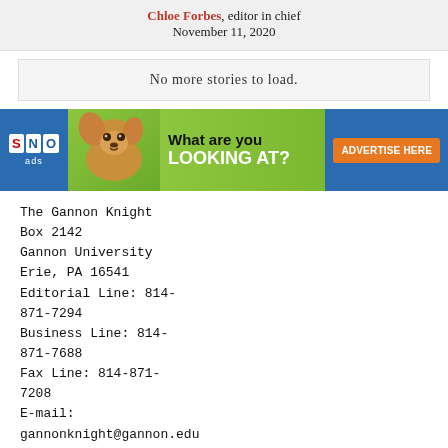Chloe Forbes, editor in chief
November 11, 2020
No more stories to load.
[Figure (infographic): SNO ads banner with chihuahua dog image, text 'What are you LOOKING AT?' and orange 'ADVERTISE HERE' button on blue/green background]
The Gannon Knight
Box 2142
Gannon University
Erie, PA 16541
Editorial Line: 814-871-7294
Business Line: 814-871-7688
Fax Line: 814-871-7208
E-mail: gannonknight@gannon.edu
© 2022 • Advertise • FLEX WordPress Theme by SNO • Log in